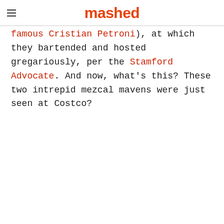mashed
famous Cristian Petroni), at which they bartended and hosted gregariously, per the Stamford Advocate. And now, what's this? These two intrepid mezcal mavens were just seen at Costco?